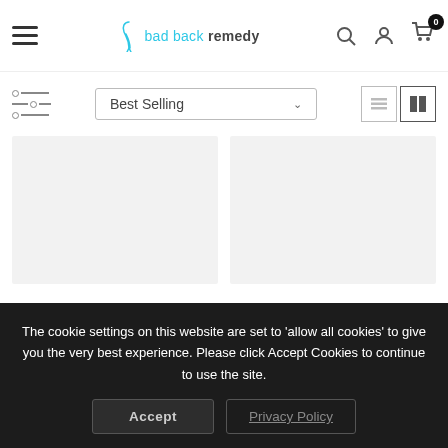bad back remedy — navigation bar with hamburger menu, logo, search, account, and cart icons
Best Selling — sort dropdown with filter icon and view toggle buttons
[Figure (other): Two empty product card placeholders in a two-column grid layout with light grey background]
The cookie settings on this website are set to 'allow all cookies' to give you the very best experience. Please click Accept Cookies to continue to use the site.
Accept
Privacy Policy